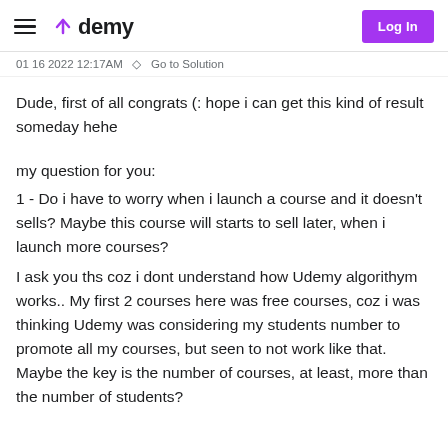Udemy — Log In
01 16 2022 12:17AM   Go to Solution
Dude, first of all congrats (: hope i can get this kind of result someday hehe
my question for you:
1 - Do i have to worry when i launch a course and it doesn't sells? Maybe this course will starts to sell later, when i launch more courses?
I ask you ths coz i dont understand how Udemy algorithym works.. My first 2 courses here was free courses, coz i was thinking Udemy was considering my students number to promote all my courses, but seen to not work like that. Maybe the key is the number of courses, at least, more than the number of students?